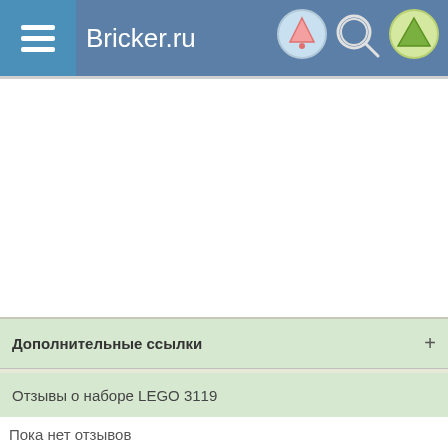Bricker.ru
Дополнительные ссылки
Отзывы о наборе LEGO 3119
Пока нет отзывов
Авторизируйтесь, чтобы оставлять комментарии